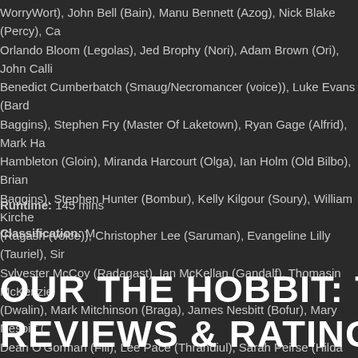WorryWort), John Bell (Bain), Manu Bennett (Azog), Nick Blake (Percy), Ca Orlando Bloom (Legolas), Jed Brophy (Nori), Adam Brown (Ori), John Calli Benedict Cumberbatch (Smaug/Necromancer (voice)), Luke Evans (Bard Baggins), Stephen Fry (Master Of Laketown), Ryan Gage (Alfrid), Mark Ha Hambleton (Gloin), Miranda Harcourt (Olga), Ian Holm (Old Bilbo), Brian Baggins), Stephen Hunter (Bombur), Kelly Kilgour (Soury), William Kirche (Ragash (voice)), Christopher Lee (Saruman), Evangeline Lilly (Tauriel), Sir Sylvester McCoy (Radagast), Ian McKellan (Gandalf), Thomasin McKenzie (Dwalin), Mark Mitchinson (Braga), James Nesbitt (Bofur), Mary Nesbitt ( Dean O'Gorman (Fili), Lee Pace (Thrandiul), Sarah Peirse (Hilda Bianca), M Allan Smith (Ragash), Merv Smith (Tosser Grub), Conan Stevens (Keep Of (Balin), John Tui (Bolg), Aidan Turner (Kili), Hugo Weaving (Elrond)
Runtime: 145 mins
Classification: M
OUR THE HOBBIT: THE BATTLE OF FIV
REVIEWS & RATINGS: